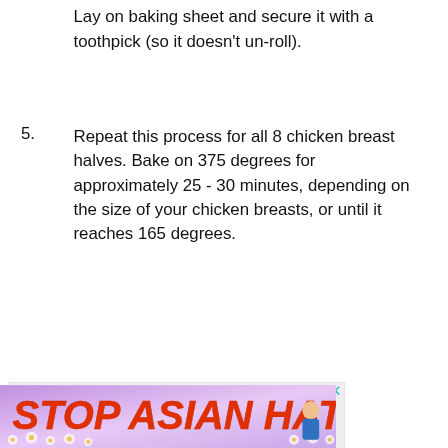Lay on baking sheet and secure it with a toothpick (so it doesn't un-roll).
5. Repeat this process for all 8 chicken breast halves. Bake on 375 degrees for approximately 25 - 30 minutes, depending on the size of your chicken breasts, or until it reaches 165 degrees.
[Figure (photo): Advertisement banner showing 'We Stand Together' text with a diverse group of people with arms around each other, viewed from behind]
[Figure (infographic): Social sharing sidebar with heart/like button showing 213 likes and a share button]
[Figure (photo): What's Next panel showing Creamy Jalapeño... recipe thumbnail]
[Figure (infographic): Bottom advertisement banner reading 'STOP ASIAN HATE' on purple/lavender background with flowers and a female character illustration]